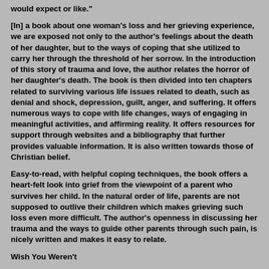would expect or like."
[In] a book about one woman's loss and her grieving experience, we are exposed not only to the author's feelings about the death of her daughter, but to the ways of coping that she utilized to carry her through the threshold of her sorrow. In the introduction of this story of trauma and love, the author relates the horror of her daughter's death. The book is then divided into ten chapters related to surviving various life issues related to death, such as denial and shock, depression, guilt, anger, and suffering. It offers numerous ways to cope with life changes, ways of engaging in meaningful activities, and affirming reality. It offers resources for support through websites and a bibliography that further provides valuable information. It is also written towards those of Christian belief.
Easy-to-read, with helpful coping techniques, the book offers a heart-felt look into grief from the viewpoint of a parent who survives her child. In the natural order of life, parents are not supposed to outlive their children which makes grieving such loss even more difficult. The author's openness in discussing her trauma and the ways to guide other parents through such pain, is nicely written and makes it easy to relate.
Wish You Weren't